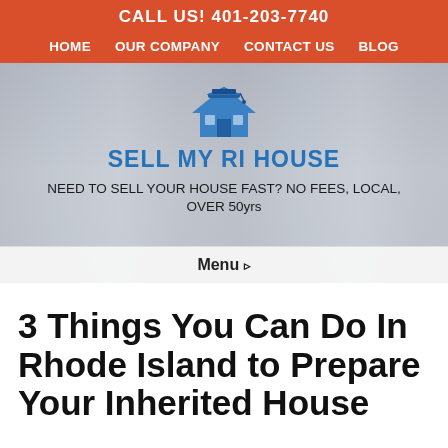CALL US! 401-203-7740
HOME   OUR COMPANY   CONTACT US   BLOG
[Figure (logo): Sell My RI House logo: a blue house icon with graduation cap]
SELL MY RI HOUSE
NEED TO SELL YOUR HOUSE FAST? NO FEES, LOCAL, OVER 50yrs
Menu ▸
3 Things You Can Do In Rhode Island to Prepare Your Inherited House